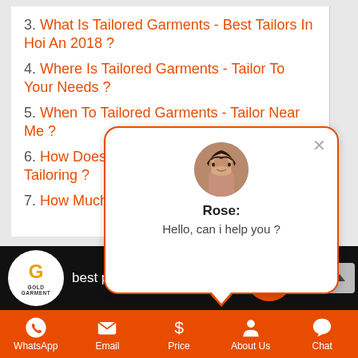3. What Is Tailored Garments - Best Tailors In Hoi An 2018 ?
4. Where Is Tailored Garments - Tailor To Your Needs ?
5. When To Tailored Garments - Tailor Near Me ?
6. How Does Tailored Garments - History Of Tailoring ?
7. How Much [partially obscured] Synonym ?
[Figure (screenshot): Chat popup with photo of Rose saying 'Hello, can i help you ?']
[Figure (screenshot): Video bar with Gold Garment logo and text 'best print on demand t shirts - Co...' with chat button]
[Figure (infographic): Bottom navigation bar with WhatsApp, Email, Price, About Us, Chat icons on orange background]